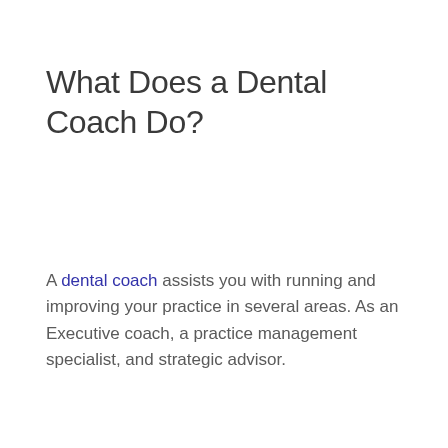What Does a Dental Coach Do?
A dental coach assists you with running and improving your practice in several areas. As an Executive coach, a practice management specialist, and strategic advisor.